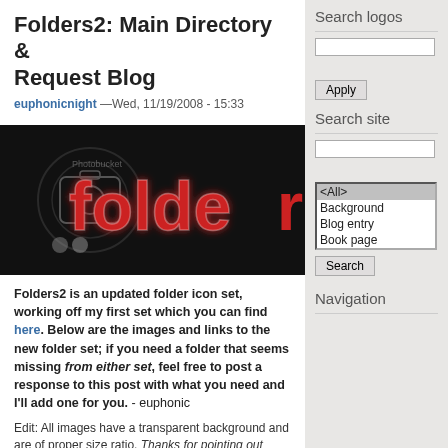Folders2: Main Directory & Request Blog
euphonicnight —Wed, 11/19/2008 - 15:33
[Figure (photo): Dark background image with large red glowing 'folder' text and Photobucket watermark overlay]
Folders2 is an updated folder icon set, working off my first set which you can find here. Below are the images and links to the new folder set; if you need a folder that seems missing from either set, feel free to post a response to this post with what you need and I'll add one for you. - euphonic
Edit: All images have a transparent background and are of proper size ratio. Thanks for pointing out possible confusion, chiaroscuro.
Image Package/ / /Want the entire set? Download all
Search logos
Search site
Navigation